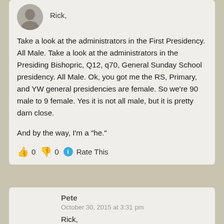Rick,
Take a look at the administrators in the First Presidency. All Male. Take a look at the administrators in the Presiding Bishopric, Q12, q70, General Sunday School presidency. All Male. Ok, you got me the RS, Primary, and YW general presidencies are female. So we're 90 male to 9 female. Yes it is not all male, but it is pretty darn close.
And by the way, I'm a "he."
👍 0  👎 0  ℹ Rate This
Pete
October 30, 2015 at 3:31 pm
Rick,